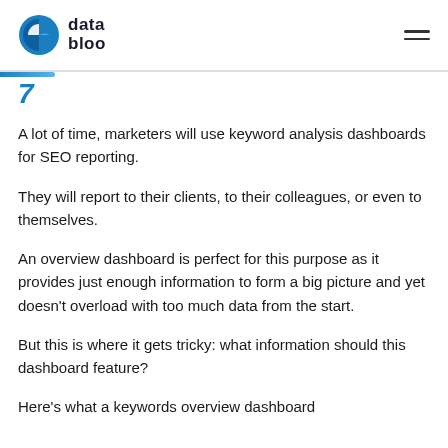data bloo
A lot of time, marketers will use keyword analysis dashboards for SEO reporting.
They will report to their clients, to their colleagues, or even to themselves.
An overview dashboard is perfect for this purpose as it provides just enough information to form a big picture and yet doesn't overload with too much data from the start.
But this is where it gets tricky: what information should this dashboard feature?
Here's what a keywords overview dashboard